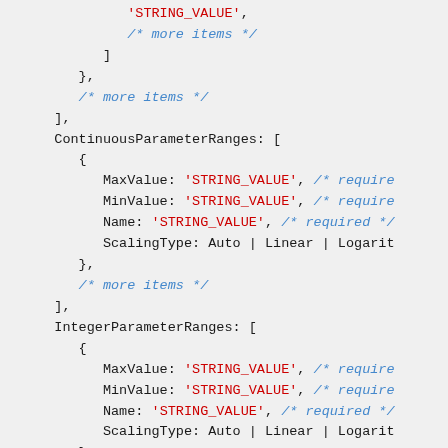Code snippet showing ContinuousParameterRanges and IntegerParameterRanges with STRING_VALUE placeholders and comments